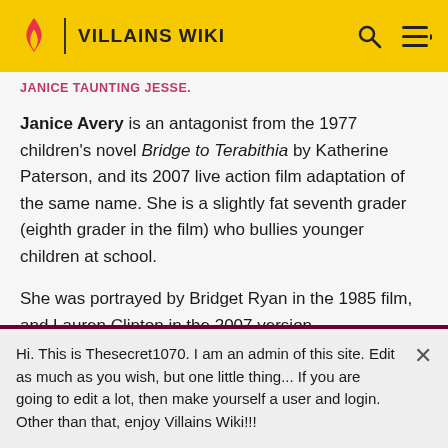VILLAINS WIKI
JANICE TAUNTING JESSE.
Janice Avery is an antagonist from the 1977 children's novel Bridge to Terabithia by Katherine Paterson, and its 2007 live action film adaptation of the same name. She is a slightly fat seventh grader (eighth grader in the film) who bullies younger children at school.
She was portrayed by Bridget Ryan in the 1985 film, and Lauren Clinton in the 2007 version.
Hi. This is Thesecret1070. I am an admin of this site. Edit as much as you wish, but one little thing... If you are going to edit a lot, then make yourself a user and login. Other than that, enjoy Villains Wiki!!!